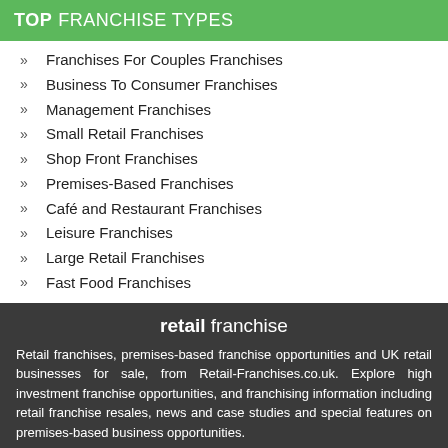TOP FRANCHISE TYPES
Franchises For Couples Franchises
Business To Consumer Franchises
Management Franchises
Small Retail Franchises
Shop Front Franchises
Premises-Based Franchises
Café and Restaurant Franchises
Leisure Franchises
Large Retail Franchises
Fast Food Franchises
retail franchise
Retail franchises, premises-based franchise opportunities and UK retail businesses for sale, from Retail-Franchises.co.uk. Explore high investment franchise opportunities, and franchising information including retail franchise resales, news and case studies and special features on premises-based business opportunities.
This site uses cookies. By continuing to browse the site you are agreeing to our use of cookies - learn more